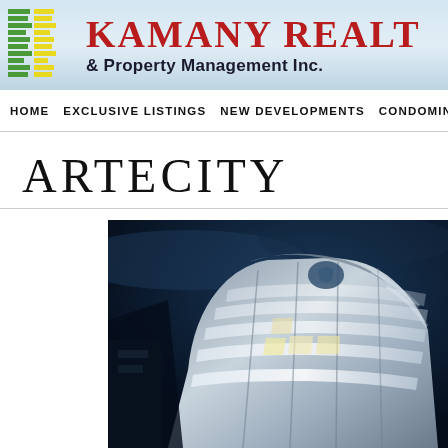[Figure (logo): Kamany Realty & Property Management Inc. logo with colored horizontal stripes (green and yellow) on the left and red serif text on the right]
HOME   EXCLUSIVE LISTINGS   NEW DEVELOPMENTS   CONDOMINIUMS   PR
ARTECITY
[Figure (photo): Nighttime architectural rendering of a modern curved glass building facade illuminated from within, shot from a low angle against a dark blue sky]